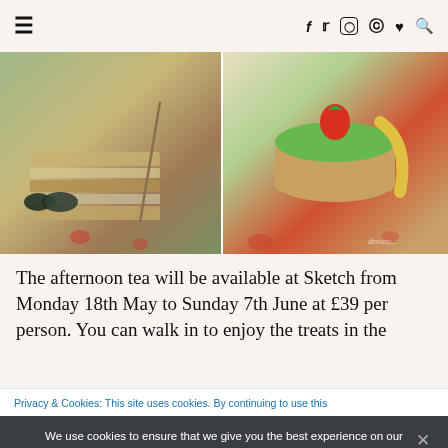≡  f  𝕥  📷  𝐩  ♥  🔍
[Figure (photo): Two food photos side by side: left shows layered sandwiches and pastries on a floral tablecloth with a dark ribbon bow; right shows a green-topped tart/cake with a strawberry on a floral tablecloth.]
The afternoon tea will be available at Sketch from Monday 18th May to Sunday 7th June at £39 per person. You can walk in to enjoy the treats in the
Privacy & Cookies: This site uses cookies. By continuing to use this
We use cookies to ensure that we give you the best experience on our website. If you continue to use this site we will assume that you are happy with it.